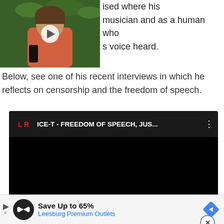[Figure (screenshot): Video thumbnail showing a woman in a pink top with a play button overlay, in front of a leafy green background]
ised where his musician and as a human who s voice heard.
Below, see one of his recent interviews in which he reflects on censorship and the freedom of speech.
[Figure (screenshot): YouTube video embed showing 'ICE-T - FREEDOM OF SPEECH, JUS...' with LR channel logo]
Save Up to 65% Leesburg Premium Outlets